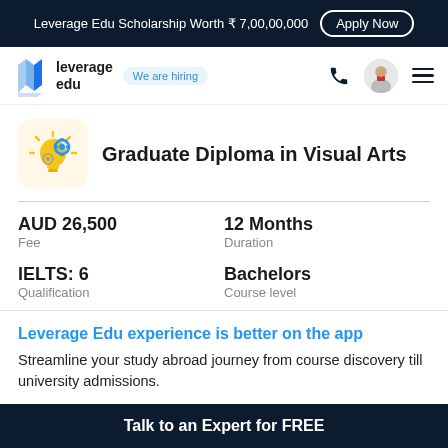Leverage Edu Scholarship Worth ₹ 7,00,00,000  Apply Now
[Figure (logo): Leverage Edu logo with stylized 'V' icon and text 'leverage edu', with 'We are hiring' badge]
Graduate Diploma in Visual Arts
AUD 26,500
Fee
12 Months
Duration
IELTS: 6
Qualification
Bachelors
Course level
Leverage Edu experience is better on the app
Streamline your study abroad journey from course discovery till university admissions.
Talk to an Expert for FREE